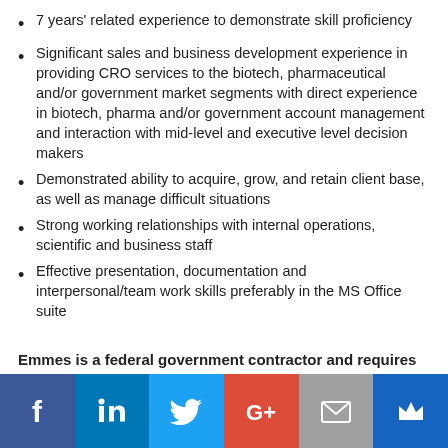7 years' related experience to demonstrate skill proficiency
Significant sales and business development experience in providing CRO services to the biotech, pharmaceutical and/or government market segments with direct experience in biotech, pharma and/or government account management and interaction with mid-level and executive level decision makers
Demonstrated ability to acquire, grow, and retain client base, as well as manage difficult situations
Strong working relationships with internal operations, scientific and business staff
Effective presentation, documentation and interpersonal/team work skills preferably in the MS Office suite
Emmes is a federal government contractor and requires
[Figure (infographic): Social media share bar with icons for Facebook, LinkedIn, Twitter, Google+, Email, and a crown/bookmark icon]